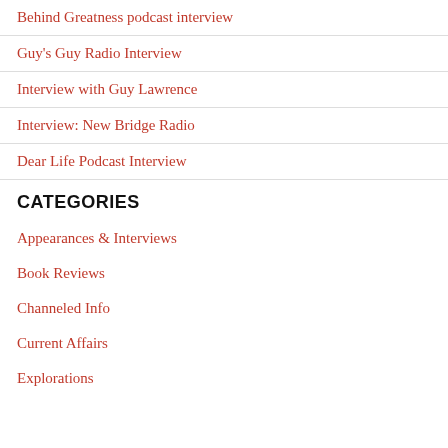Behind Greatness podcast interview
Guy's Guy Radio Interview
Interview with Guy Lawrence
Interview: New Bridge Radio
Dear Life Podcast Interview
CATEGORIES
Appearances & Interviews
Book Reviews
Channeled Info
Current Affairs
Explorations